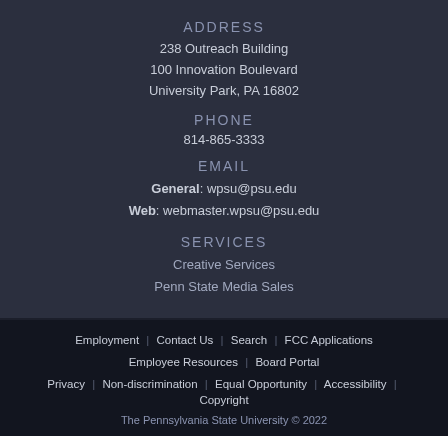ADDRESS
238 Outreach Building
100 Innovation Boulevard
University Park, PA 16802
PHONE
814-865-3333
EMAIL
General: wpsu@psu.edu
Web: webmaster.wpsu@psu.edu
SERVICES
Creative Services
Penn State Media Sales
Employment | Contact Us | Search | FCC Applications | Employee Resources | Board Portal | Privacy | Non-discrimination | Equal Opportunity | Accessibility | Copyright
The Pennsylvania State University © 2022